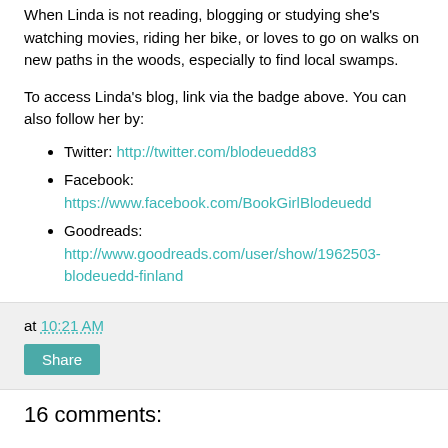When Linda is not reading, blogging or studying she's watching movies, riding her bike, or loves to go on walks on new paths in the woods, especially to find local swamps.
To access Linda's blog, link via the badge above. You can also follow her by:
Twitter: http://twitter.com/blodeuedd83
Facebook: https://www.facebook.com/BookGirlBlodeuedd
Goodreads: http://www.goodreads.com/user/show/1962503-blodeuedd-finland
at 10:21 AM
Share
16 comments: